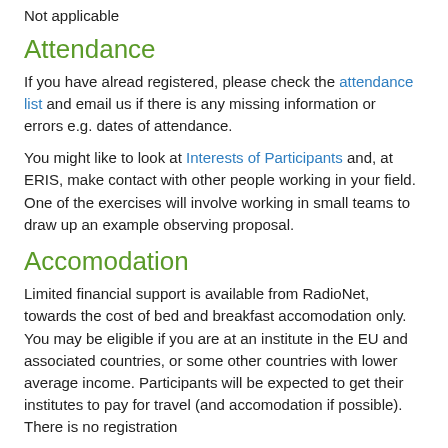Not applicable
Attendance
If you have alread registered, please check the attendance list and email us if there is any missing information or errors e.g. dates of attendance.
You might like to look at Interests of Participants and, at ERIS, make contact with other people working in your field. One of the exercises will involve working in small teams to draw up an example observing proposal.
Accomodation
Limited financial support is available from RadioNet, towards the cost of bed and breakfast accomodation only. You may be eligible if you are at an institute in the EU and associated countries, or some other countries with lower average income. Participants will be expected to get their institutes to pay for travel (and accomodation if possible). There is no registration fee and lunch at some of the offices will be provided by Oxford...